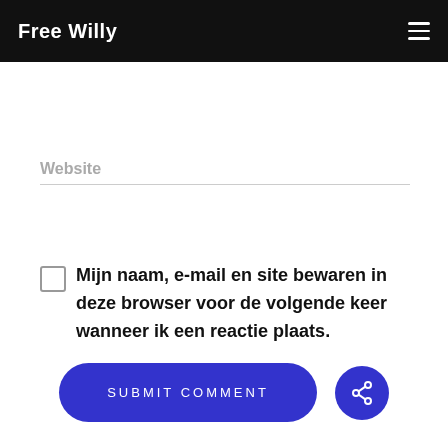Free Willy
Website
Mijn naam, e-mail en site bewaren in deze browser voor de volgende keer wanneer ik een reactie plaats.
SUBMIT COMMENT